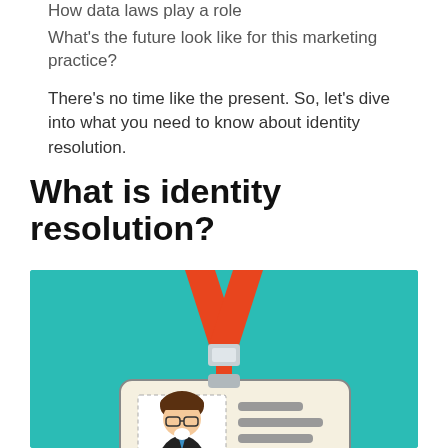How data laws play a role
What’s the future look like for this marketing practice?
There’s no time like the present. So, let’s dive into what you need to know about identity resolution.
What is identity resolution?
[Figure (illustration): Illustration of an ID badge with a lanyard. The lanyard is orange-red with a white section near the top of the badge. The badge is cream/off-white with a rounded rectangle border. Inside the badge on the left is a cartoon illustration of a man with brown hair, glasses, wearing a suit. On the right side of the badge are gray horizontal bars representing text/info fields. The background of the illustration is teal/aqua colored.]